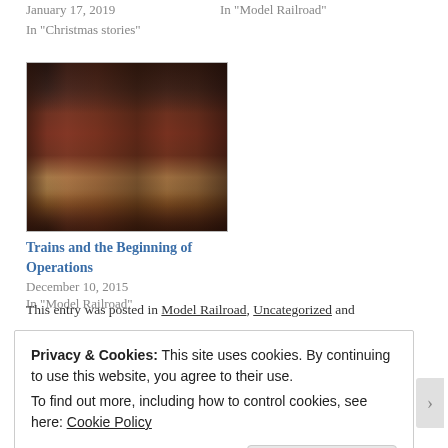January 17, 2019
In "Christmas stories"
In "Model Railroad"
[Figure (photo): Photo of model railroad freight cars (dark red/brown box cars) on tracks]
Trains and the Beginning of Operations
December 10, 2015
In "Model Railroad"
This entry was posted in Model Railroad, Uncategorized and
Privacy & Cookies: This site uses cookies. By continuing to use this website, you agree to their use.
To find out more, including how to control cookies, see here: Cookie Policy
Close and accept